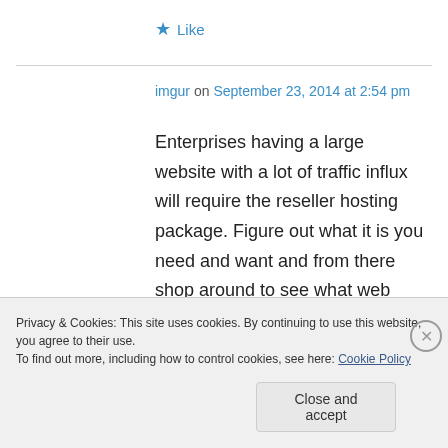★ Like
imgur on September 23, 2014 at 2:54 pm
Enterprises having a large website with a lot of traffic influx will require the reseller hosting package. Figure out what it is you need and want and from there shop around to see what web hosts matches these expectations. These methods are extremely efficient,
Privacy & Cookies: This site uses cookies. By continuing to use this website, you agree to their use.
To find out more, including how to control cookies, see here: Cookie Policy
Close and accept